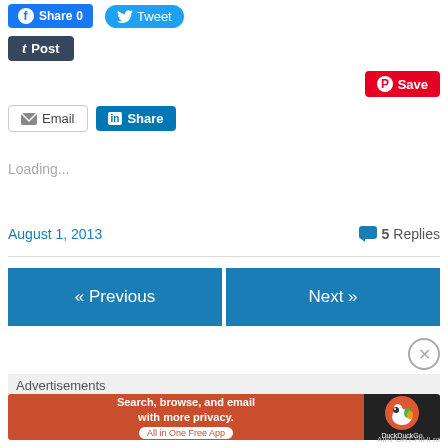[Figure (screenshot): Social share buttons: Facebook Share 0, Twitter Tweet, Tumblr Post, Pinterest Save, Email, LinkedIn Share]
Loading...
August 1, 2013   5 Replies
[Figure (screenshot): Navigation buttons: Previous and Next]
Advertisements
[Figure (screenshot): DuckDuckGo advertisement: Search, browse, and email with more privacy. All in One Free App]